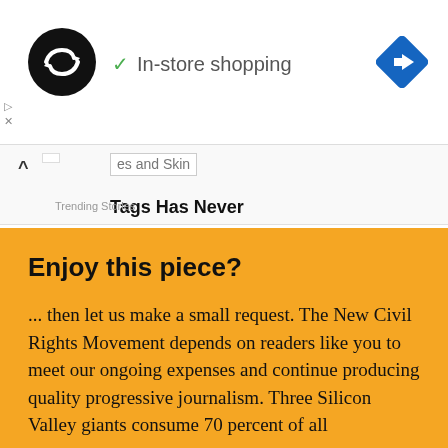[Figure (logo): Black circle logo with double arrow/infinity symbol in white, representing an ad network brand]
✓ In-store shopping
[Figure (illustration): Blue diamond-shaped navigation/directions icon with white right-arrow]
▷
✕
es and Skin Tags Has Never
Trending Stories
Enjoy this piece?
... then let us make a small request. The New Civil Rights Movement depends on readers like you to meet our ongoing expenses and continue producing quality progressive journalism. Three Silicon Valley giants consume 70 percent of all